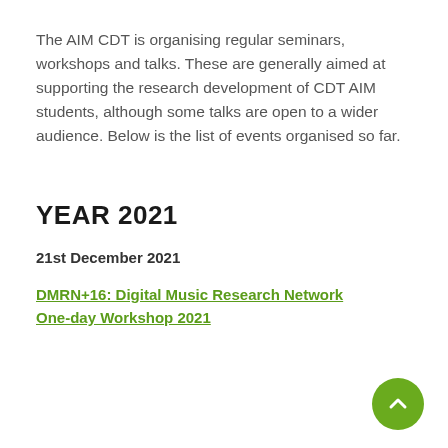The AIM CDT is organising regular seminars, workshops and talks. These are generally aimed at supporting the research development of CDT AIM students, although some talks are open to a wider audience. Below is the list of events organised so far.
YEAR 2021
21st December 2021
DMRN+16: Digital Music Research Network One-day Workshop 2021